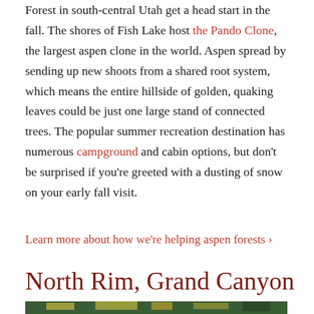Forest in south-central Utah get a head start in the fall. The shores of Fish Lake host the Pando Clone, the largest aspen clone in the world. Aspen spread by sending up new shoots from a shared root system, which means the entire hillside of golden, quaking leaves could be just one large stand of connected trees. The popular summer recreation destination has numerous campground and cabin options, but don't be surprised if you're greeted with a dusting of snow on your early fall visit.
Learn more about how we're helping aspen forests ›
North Rim, Grand Canyon
[Figure (photo): Forest scene showing dense green trees with patches of golden yellow foliage, photographed at the North Rim, Grand Canyon area]